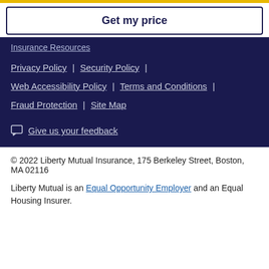Get my price
Insurance Resources
Privacy Policy | Security Policy | Web Accessibility Policy | Terms and Conditions | Fraud Protection | Site Map
Give us your feedback
© 2022 Liberty Mutual Insurance, 175 Berkeley Street, Boston, MA 02116
Liberty Mutual is an Equal Opportunity Employer and an Equal Housing Insurer.